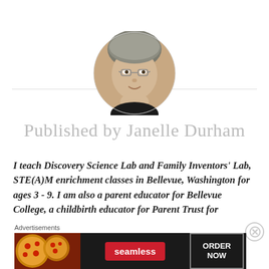[Figure (photo): Circular profile photo of Janelle Durham, a woman with short gray hair and glasses, smiling]
Published by Janelle Durham
I teach Discovery Science Lab and Family Inventors' Lab, STE(A)M enrichment classes in Bellevue, Washington for ages 3 - 9. I am also a parent educator for Bellevue College, a childbirth educator for Parent Trust for
[Figure (other): Advertisement banner: Seamless food delivery - ORDER NOW]